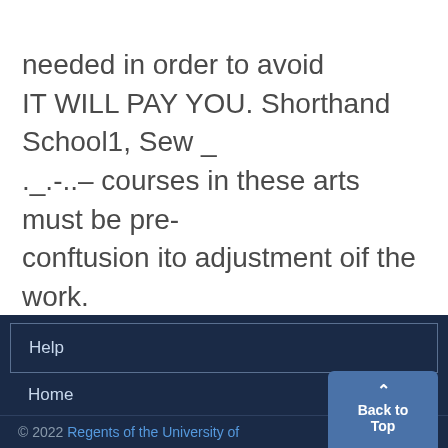needed in order to avoid IT WILL PAY YOU. Shorthand School1, Sew _ ._.-..– courses in these arts must be pre-conftusion ito adjustment oif the work. Building, 2ttouth State Street. St-hubert Quartette to-ntighit. paredl fully for the fresthman year.flrUxsx' C. ADseAMS
Help
Home
© 2022 Regents of the University of